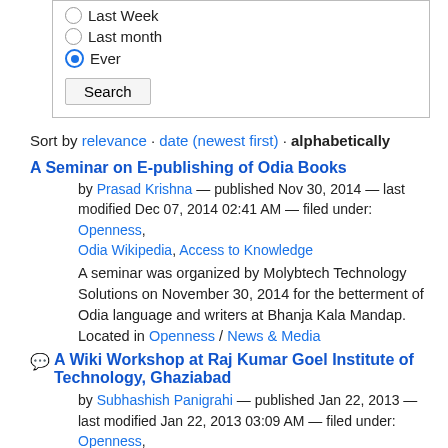Last Week
Last month
Ever (selected)
Search (button)
Sort by relevance · date (newest first) · alphabetically
A Seminar on E-publishing of Odia Books
by Prasad Krishna — published Nov 30, 2014 — last modified Dec 07, 2014 02:41 AM — filed under: Openness, Odia Wikipedia, Access to Knowledge
A seminar was organized by Molybtech Technology Solutions on November 30, 2014 for the betterment of Odia language and writers at Bhanja Kala Mandap. Located in Openness / News & Media
A Wiki Workshop at Raj Kumar Goel Institute of Technology, Ghaziabad
by Subhashish Panigrahi — published Jan 22, 2013 — last modified Jan 22, 2013 03:09 AM — filed under: Openness, Wikipedia, Access to Knowledge, Wikimedia
The Centre for Internet & Society's Access to Knowledge team organized a Wikipedia workshop at Raj Kumar Goel